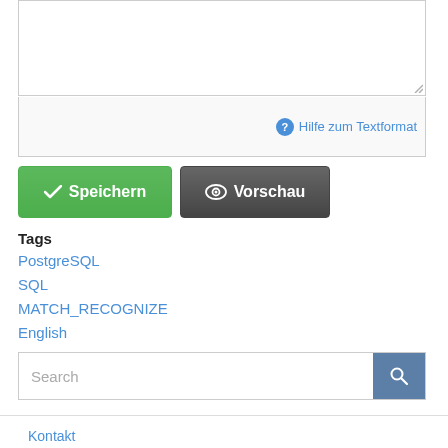[Figure (screenshot): Text area input box with resize handle at bottom right]
Hilfe zum Textformat
[Figure (screenshot): Green Speichern button and dark grey Vorschau button]
Tags
PostgreSQL
SQL
MATCH_RECOGNIZE
English
[Figure (screenshot): Search input field with blue search button]
Kontakt